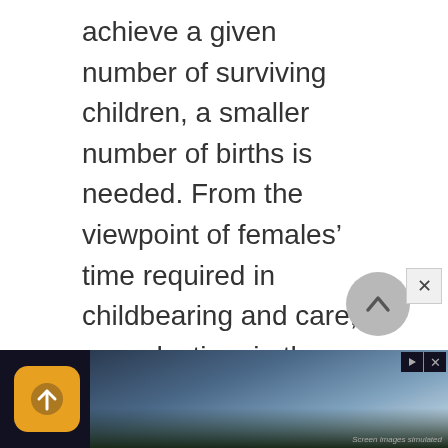achieve a given number of surviving children, a smaller number of births is needed. From the viewpoint of females’ time required in childbearing and care, reproduction, in the significant sense of surviving descendants, becomes, like economic production, a more efficient process during modern economic growth.

The “dependency burden,” the ratio of dependent children and elderly per